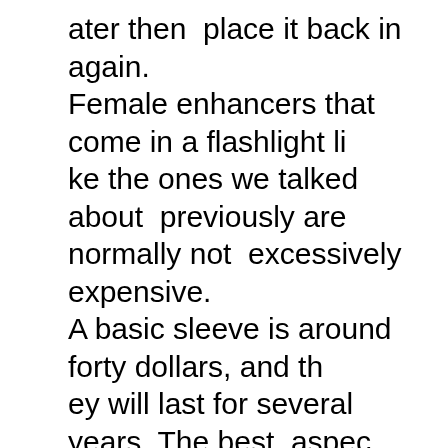ater then  place it back in again. Female enhancers that come in a flashlight like the ones we talked about  previously are normally not  excessively expensive. A basic sleeve is around forty dollars, and they will last for several years. The best  aspect of a sleeve is that you can  purchase them to match any  gown or top you wear. These enhancers are  developed to be comfortable to  use  within the  vaginal area. To  totally  imitate the sensation of intercourse, the flashlight  needs to be  used with a condom.  Many individuals feel this makes them  much safer, and while this might be  real in some  scenarios, a condom can  in fact increase the intensity of the stimulation. It does this by cutting off air  blood circulation around the toy. Without air flowing around